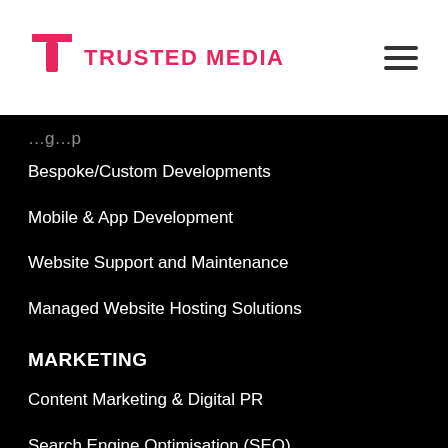TRUSTED MEDIA
Bespoke/Custom Developments
Mobile & App Development
Website Support and Maintenance
Managed Website Hosting Solutions
MARKETING
Content Marketing & Digital PR
Search Engine Optimisation (SEO)
Pay Per Click Advertising (PPC)
Conversion Rate Optimisation (CRO)
Social Media Marketing & Management